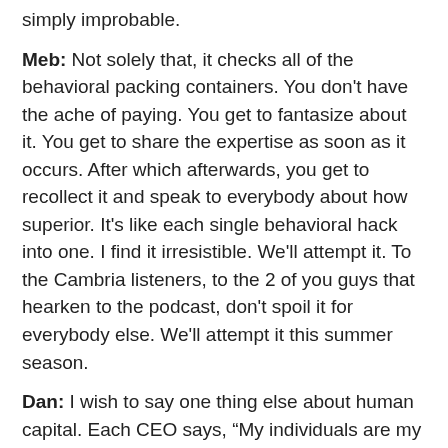simply improbable.
Meb: Not solely that, it checks all of the behavioral packing containers. You don't have the ache of paying. You get to fantasize about it. You get to share the expertise as soon as it occurs. After which afterwards, you get to recollect it and speak to everybody about how superior. It's like each single behavioral hack into one. I find it irresistible. We'll attempt it. To the Cambria listeners, to the 2 of you guys that hearken to the podcast, don't spoil it for everybody else. We'll attempt it this summer season.
Dan: I wish to say one thing else about human capital. Each CEO says, “My individuals are my greatest asset.” You haven't heard any CEO say, “Individuals are not so necessary.”
Meb: We received a bunch of common workers, no matter.
Dan: ...